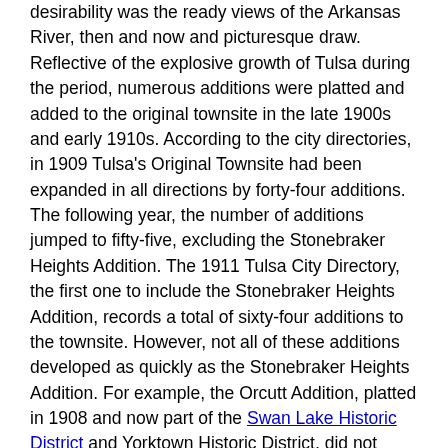desirability was the ready views of the Arkansas River, then and now and picturesque draw. Reflective of the explosive growth of Tulsa during the period, numerous additions were platted and added to the original townsite in the late 1900s and early 1910s. According to the city directories, in 1909 Tulsa's Original Townsite had been expanded in all directions by forty-four additions. The following year, the number of additions jumped to fifty-five, excluding the Stonebraker Heights Addition. The 1911 Tulsa City Directory, the first one to include the Stonebraker Heights Addition, records a total of sixty-four additions to the townsite. However, not all of these additions developed as quickly as the Stonebraker Heights Addition. For example, the Orcutt Addition, platted in 1908 and now part of the Swan Lake Historic District and Yorktown Historic District, did not experience significant development until the 1920s.

Although construction got off to a slow start with just